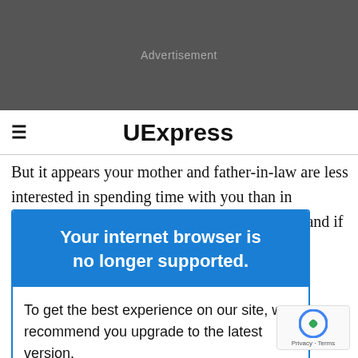[Figure (other): Dark grey advertisement banner placeholder with 'Advertisement' label in grey text]
≡  UExpress
But it appears your mother and father-in-law are less interested in spending time with you than in spending that should be and if your s more than ating, "D d as
Your internet browser is no longer supported.
To get the best experience on our site, we recommend you upgrade to the latest version.